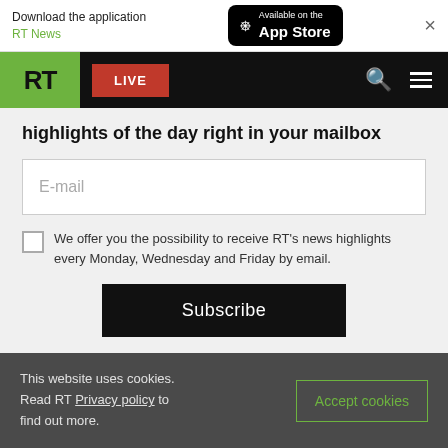Download the application RT News — Available on the App Store
[Figure (screenshot): RT website navigation bar with green RT logo, red LIVE button, search icon, and hamburger menu icon on black background]
highlights of the day right in your mailbox
E-mail
We offer you the possibility to receive RT's news highlights every Monday, Wednesday and Friday by email.
Subscribe
This website uses cookies. Read RT Privacy policy to find out more.
Accept cookies